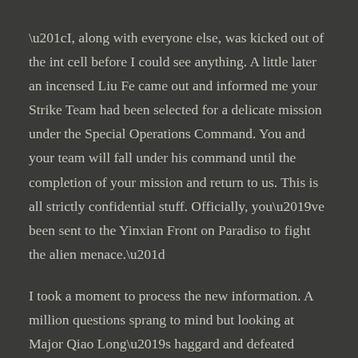“I, along with everyone else, was kicked out of the int cell before I could see anything. A little later an incensed Liu Fe came out and informed me your Strike Team had been selected for a delicate mission under the Special Operations Command. You and your team will fall under his command until the completion of your mission and return to us. This is all strictly confidential stuff. Officially, you’ve been sent to the Yinxian Front on Paradiso to fight the alien menace.”
I took a moment to process the new information. A million questions sprang to mind but looking at Major Qiao Long’s haggard and defeated expression I got the impression he felt the same.